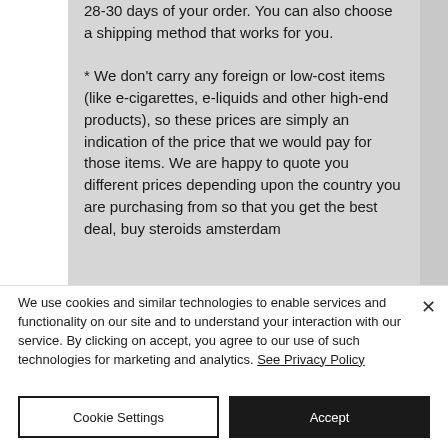28-30 days of your order. You can also choose a shipping method that works for you.
* We don't carry any foreign or low-cost items (like e-cigarettes, e-liquids and other high-end products), so these prices are simply an indication of the price that we would pay for those items. We are happy to quote you different prices depending upon the country you are purchasing from so that you get the best deal, buy steroids amsterdam
We use cookies and similar technologies to enable services and functionality on our site and to understand your interaction with our service. By clicking on accept, you agree to our use of such technologies for marketing and analytics. See Privacy Policy